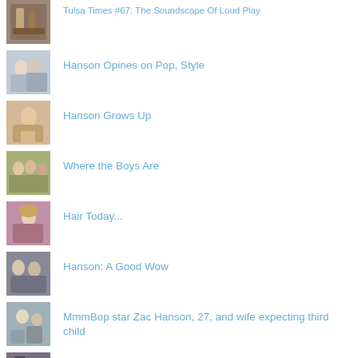Tulsa Times #67: The Soundscape Of Loud Play
Hanson Opines on Pop, Style
Hanson Grows Up
Where the Boys Are
Hair Today...
Hanson: A Good Wow
MmmBop star Zac Hanson, 27, and wife expecting third child
Taylor Hanson In The Firing Line: "I've always respected my hair's natural juices"